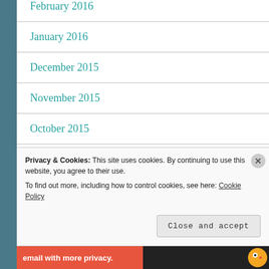February 2016
January 2016
December 2015
November 2015
October 2015
September 2015
August 2015
Privacy & Cookies: This site uses cookies. By continuing to use this website, you agree to their use. To find out more, including how to control cookies, see here: Cookie Policy
Close and accept
[Figure (infographic): Advertisement banner at bottom: red and dark background with text 'email with more privacy.' and a duck icon]